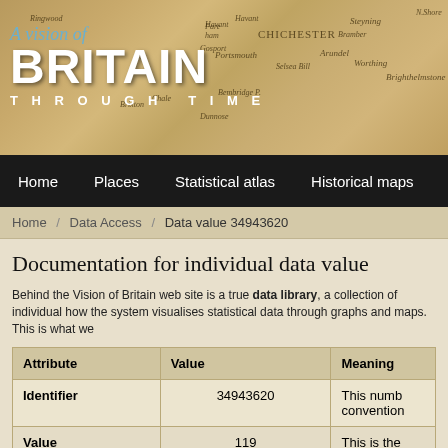[Figure (illustration): Historical map header showing southern England coastline with place names including Chichester, Portsmouth, Arundel, Brighton, overlaid with 'A Vision of BRITAIN THROUGH TIME' logo in white text]
Home   Places   Statistical atlas   Historical maps   Censu
Home / Data Access / Data value 34943620
Documentation for individual data value
Behind the Vision of Britain web site is a true data library, a collection of individual how the system visualises statistical data through graphs and maps. This is what we
| Attribute | Value | Meaning |
| --- | --- | --- |
| Identifier | 34943620 | This numb convention |
| Value | 119 | This is the |
| Date(s) covered | January 1st, 1943 to | We store d |